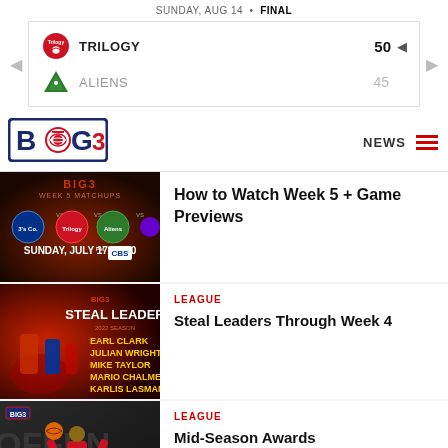SUNDAY, AUG 14 • FINAL
TRILOGY 50 | ALIENS 45
[Figure (logo): BIG3 basketball league logo with basketball icon]
NEWS
[Figure (photo): BIG3 Week 5 Matchups promotional image showing Sunday July 17 at 3:00 PM on CBS]
How to Watch Week 5 + Game Previews
[Figure (photo): Steal Leaders Through Week 4 - 2022 Season listing Earl Clark, Julian Wright, Mike Taylor, Mario Chalmers, Karlis Lasmanis]
LEAGUE
Steal Leaders Through Week 4
[Figure (photo): Basketball player wearing number 23 shooting ball during BIG3 game, Mid-Season Awards]
LEAGUE
Mid-Season Awards